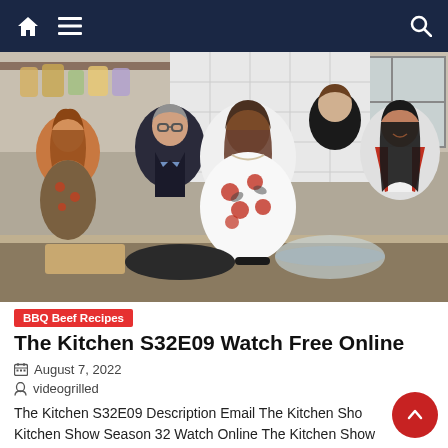Navigation bar with home icon, menu icon, and search icon
[Figure (photo): Five hosts of The Kitchen TV show standing behind a kitchen counter, smiling. From left: a young woman in floral top, a man in dark suit, a woman in floral red-and-white dress in center, a man in black top at back, and a woman in red and white outfit on right.]
BBQ Beef Recipes
The Kitchen S32E09 Watch Free Online
August 7, 2022
videogrilled
The Kitchen S32E09 Description Email The Kitchen Show Kitchen Show Season 32 Watch Online The Kitchen Show